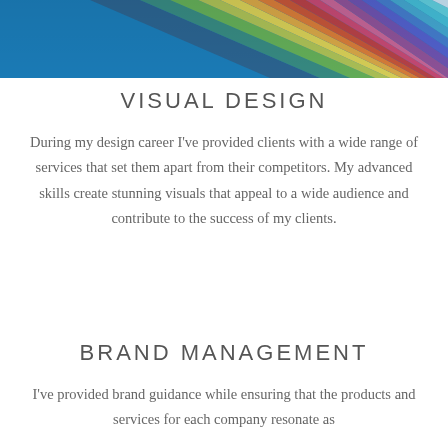[Figure (photo): Top portion of a color swatch fan deck fanned out against a blue background, showing multiple colorful paper strips in a rainbow-like spread.]
VISUAL DESIGN
During my design career I've provided clients with a wide range of services that set them apart from their competitors. My advanced skills create stunning visuals that appeal to a wide audience and contribute to the success of my clients.
BRAND MANAGEMENT
I've provided brand guidance while ensuring that the products and services for each company resonate as